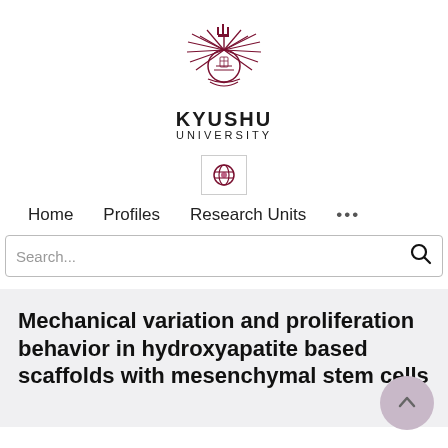[Figure (logo): Kyushu University emblem – dark red/maroon sunburst logo with stylized feathers and a crown at top]
KYUSHU UNIVERSITY
[Figure (other): Globe/language selector icon button]
Home   Profiles   Research Units   ...
Mechanical variation and proliferation behavior in hydroxyapatite based scaffolds with mesenchymal stem cells